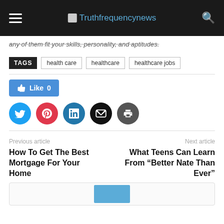Truthfrequencynews
any of them fit your skills, personality, and aptitudes.
TAGS  health care  healthcare  healthcare jobs
[Figure (infographic): Facebook Like button showing 0 likes, and social sharing icons for Twitter, Pinterest, LinkedIn, Email, and Print]
Previous article
How To Get The Best Mortgage For Your Home
Next article
What Teens Can Learn From "Better Nate Than Ever"
[Figure (photo): Bottom article card with a blue image thumbnail]